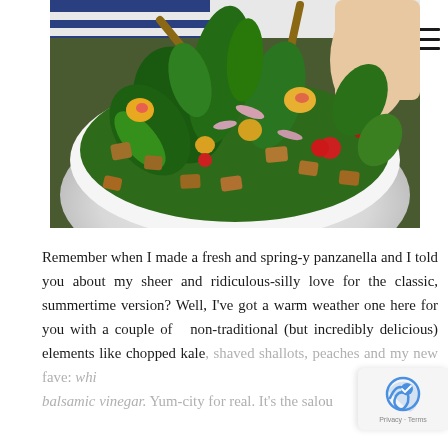[Figure (photo): A person holding a large white bowl filled with a colorful salad featuring kale, peaches, cherry tomatoes, croutons, and fresh basil leaves, with wooden salad tongs]
Remember when I made a fresh and spring-y panzanella and I told you about my sheer and ridiculous-silly love for the classic, summertime version? Well, I've got a warm weather one here for you with a couple of  non-traditional (but incredibly delicious) elements like chopped kale, shaved shallots, peaches and my new fave: white balsamic vinegar. Yum-city for real. It's the salu